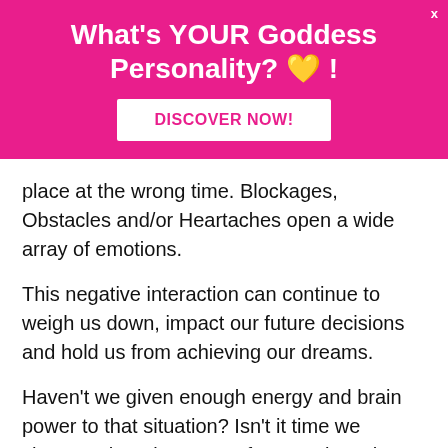[Figure (infographic): Pink advertisement banner with text 'What's YOUR Goddess Personality? heart !' and a white button labeled 'DISCOVER NOW!' on a hot pink background, with an X close button in the top right corner.]
place at the wrong time. Blockages, Obstacles and/or Heartaches open a wide array of emotions.
This negative interaction can continue to weigh us down, impact our future decisions and hold us from achieving our dreams.
Haven't we given enough energy and brain power to that situation? Isn't it time we choose a happier story? If we've given the focus to the jerk that didn't know how to aptly treat our heart, then our real partner is unable to step in